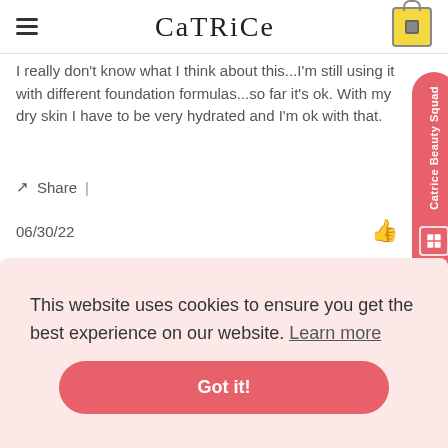CATRICE
I really don't know what I think about this...I'm still using it with different foundation formulas...so far it's ok. With my dry skin I have to be very hydrated and I'm ok with that.
Share |
06/30/22
Eileen C. Verified Buyer
★★★★★
This website uses cookies to ensure you get the best experience on our website. Learn more
Got it!